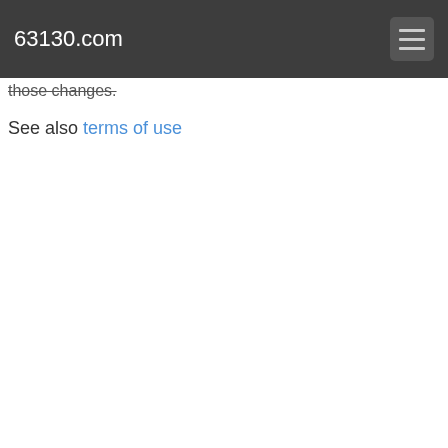63130.com
those changes.
See also terms of use